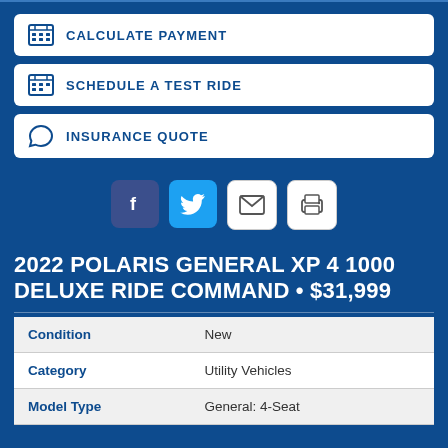CALCULATE PAYMENT
SCHEDULE A TEST RIDE
INSURANCE QUOTE
[Figure (infographic): Social share icons: Facebook (dark blue), Twitter (light blue), Email (white with border), Print (white with border)]
2022 POLARIS GENERAL XP 4 1000 DELUXE RIDE COMMAND • $31,999
| Condition | New |
| Category | Utility Vehicles |
| Model Type | General: 4-Seat |